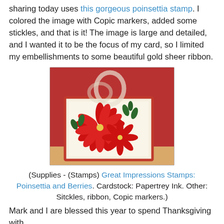sharing today uses this gorgeous poinsettia stamp. I colored the image with Copic markers, added some stickles, and that is it! The image is large and detailed, and I wanted it to be the focus of my card, so I limited my embellishments to some beautiful gold sheer ribbon.
[Figure (photo): A handmade Christmas card featuring a large red poinsettia stamp colored with Copic markers, placed on a cream card with a red border, adorned with a sheer white/gold ribbon bow, propped against a red background.]
(Supplies - (Stamps) Great Impressions Stamps: Poinsettia and Berries. Cardstock: Papertrey Ink. Other: Sitckles, ribbon, Copic markers.)
Mark and I are blessed this year to spend Thanksgiving with